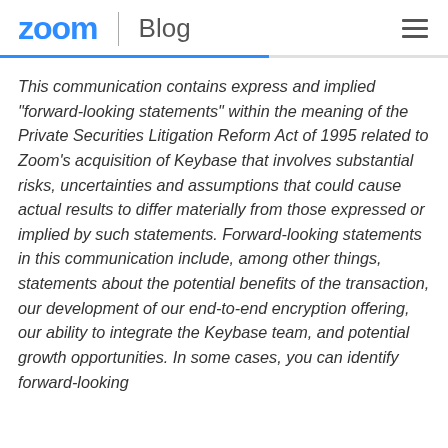zoom | Blog
This communication contains express and implied “forward-looking statements” within the meaning of the Private Securities Litigation Reform Act of 1995 related to Zoom’s acquisition of Keybase that involves substantial risks, uncertainties and assumptions that could cause actual results to differ materially from those expressed or implied by such statements. Forward-looking statements in this communication include, among other things, statements about the potential benefits of the transaction, our development of our end-to-end encryption offering, our ability to integrate the Keybase team, and potential growth opportunities. In some cases, you can identify forward-looking